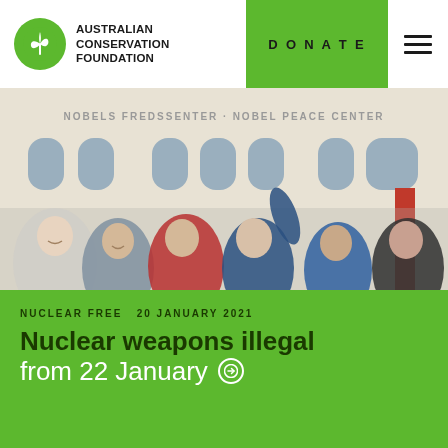AUSTRALIAN CONSERVATION FOUNDATION | DONATE
[Figure (photo): Six people smiling and waving in front of the Nobel Peace Center building in Oslo, celebrating the Treaty on the Prohibition of Nuclear Weapons.]
NUCLEAR FREE  20 JANUARY 2021
Nuclear weapons illegal from 22 January